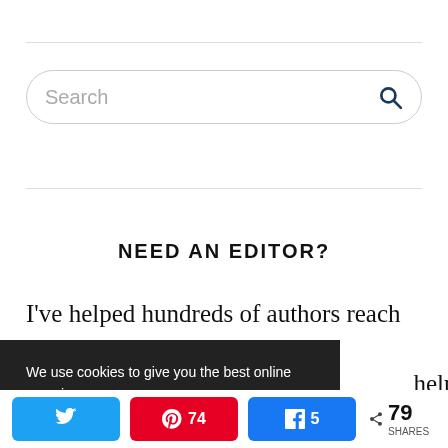[Figure (screenshot): Search input box with placeholder text 'Search' and a search icon on the right]
NEED AN EDITOR?
I've helped hundreds of authors reach their ... help you.
We use cookies to give you the best online experience. Read More
< 79 SHARES (Twitter, Pinterest 74, Facebook 5)